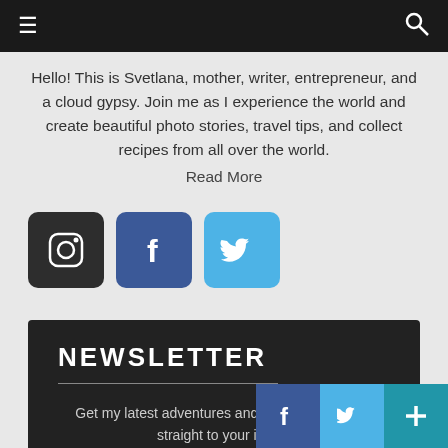Navigation header with hamburger menu and search icon
Hello! This is Svetlana, mother, writer, entrepreneur, and a cloud gypsy. Join me as I experience the world and create beautiful photo stories, travel tips, and collect recipes from all over the world.
Read More
[Figure (infographic): Three social media icon buttons: Instagram (dark square), Facebook (blue square with f logo), Twitter (light blue square with bird logo)]
NEWSLETTER
Get my latest adventures and updates delivered straight to your inbox.